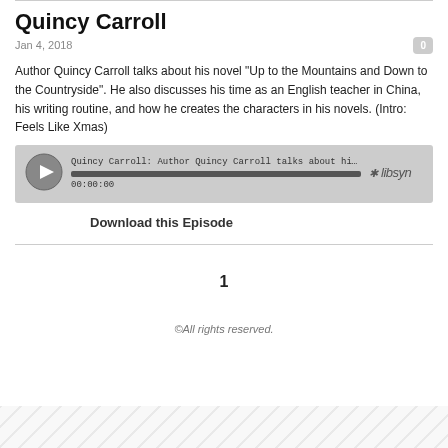Quincy Carroll
Jan 4, 2018
Author Quincy Carroll talks about his novel "Up to the Mountains and Down to the Countryside". He also discusses his time as an English teacher in China, his writing routine, and how he creates the characters in his novels. (Intro: Feels Like Xmas)
[Figure (other): Podcast audio player showing Libsyn player with play button, progress bar, timestamp 00:00:00, and episode title 'Quincy Carroll: Author Quincy Carroll talks about his nov...']
Download this Episode
1
©All rights reserved.